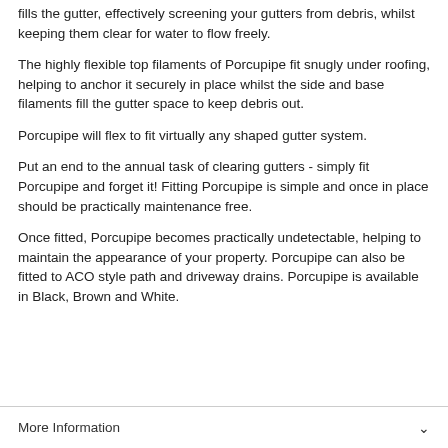fills the gutter, effectively screening your gutters from debris, whilst keeping them clear for water to flow freely.
The highly flexible top filaments of Porcupipe fit snugly under roofing, helping to anchor it securely in place whilst the side and base filaments fill the gutter space to keep debris out.
Porcupipe will flex to fit virtually any shaped gutter system.
Put an end to the annual task of clearing gutters - simply fit Porcupipe and forget it! Fitting Porcupipe is simple and once in place should be practically maintenance free.
Once fitted, Porcupipe becomes practically undetectable, helping to maintain the appearance of your property. Porcupipe can also be fitted to ACO style path and driveway drains. Porcupipe is available in Black, Brown and White.
More Information